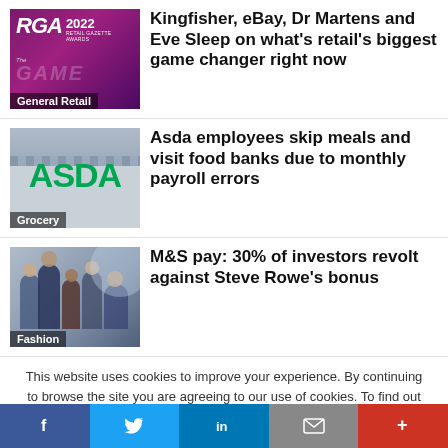[Figure (photo): RGA 2022 Retail Gazette Awards purple banner with 'The GAME' text and General Retail label]
Kingfisher, eBay, Dr Martens and Eve Sleep on what's retail's biggest game changer right now
[Figure (photo): ASDA store exterior with large green ASDA logo, Grocery label]
Asda employees skip meals and visit food banks due to monthly payroll errors
[Figure (photo): M&S people at an event, Fashion label]
M&S pay: 30% of investors revolt against Steve Rowe's bonus
This website uses cookies to improve your experience. By continuing to browse the site you are agreeing to our use of cookies. To find out more please read our privacy policy
Accept  - To find out more:  Read our updated privacy